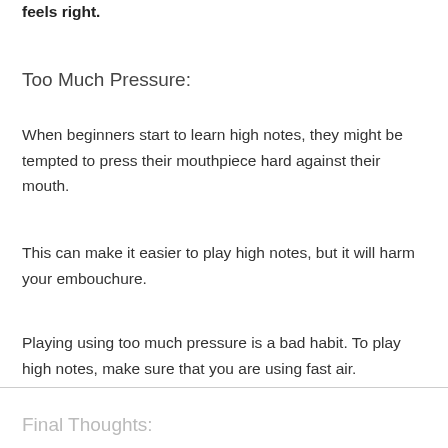feels right.
Too Much Pressure:
When beginners start to learn high notes, they might be tempted to press their mouthpiece hard against their mouth.
This can make it easier to play high notes, but it will harm your embouchure.
Playing using too much pressure is a bad habit. To play high notes, make sure that you are using fast air.
Final Thoughts: